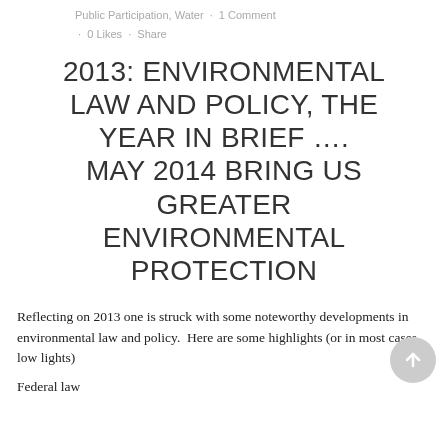Public Participation, Water · 1 Comment · 0 Likes · Share
2013: ENVIRONMENTAL LAW AND POLICY, THE YEAR IN BRIEF …. MAY 2014 BRING US GREATER ENVIRONMENTAL PROTECTION
Reflecting on 2013 one is struck with some noteworthy developments in environmental law and policy.  Here are some highlights (or in most cases low lights)
Federal law